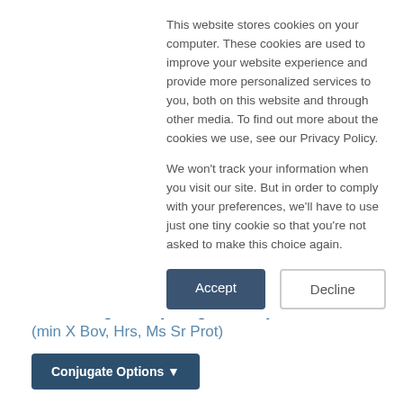This website stores cookies on your computer. These cookies are used to improve your website experience and provide more personalized services to you, both on this website and through other media. To find out more about the cookies we use, see our Privacy Policy.
We won't track your information when you visit our site. But in order to comply with your preferences, we'll have to use just one tiny cookie so that you're not asked to make this choice again.
Accept
Decline
AffiniPure F(ab')₂ Fragment Goat Anti-Human IgG, Fcγ fragment specific
(min X Bov, Hrs, Ms Sr Prot)
Conjugate Options ▾
Target: Human
Host: Goat
Antibody Format: F(ab')₂ Fragment